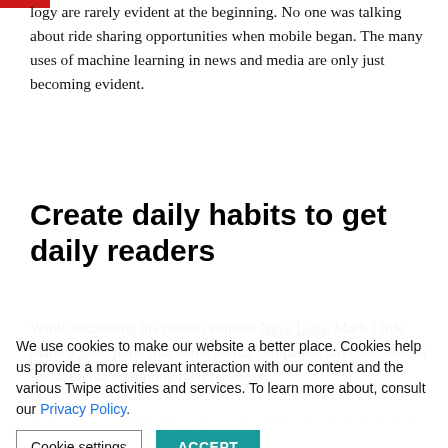logy are rarely evident at the beginning. No one was talking about ride sharing opportunities when mobile began. The many uses of machine learning in news and media are only just becoming evident.
Create daily habits to get daily readers
While discussing his newest venture Neva Labs, Mark Little made a great point that while media companies have focused on social media disrupting their business model, the real problem is that social media has gotten no place of publishers' feed to focus on fitting into readers' daily routines—something we've written about before!
We use cookies to make our website a better place. Cookies help us provide a more relevant interaction with our content and the various Twipe activities and services. To learn more about, consult our Privacy Policy.
Cookie settings   ACCEPT
Mark Little @Nevalabs We have an...